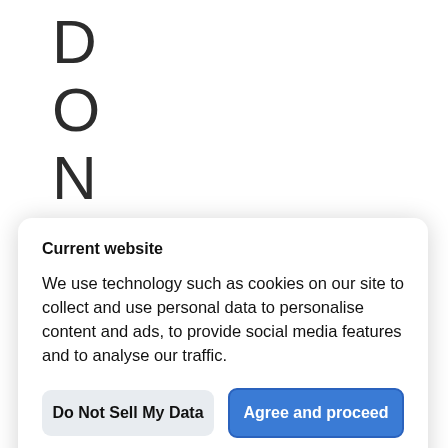DONFAS
Current website
We use technology such as cookies on our site to collect and use personal data to personalise content and ads, to provide social media features and to analyse our traffic.
Do Not Sell My Data
Agree and proceed
Powered by OniConsent